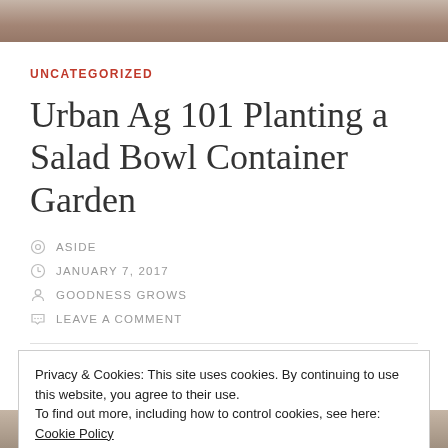[Figure (photo): Top photo strip showing a blurred natural/garden background]
UNCATEGORIZED
Urban Ag 101 Planting a Salad Bowl Container Garden
ASIDE
JANUARY 7, 2017
GOODNESS GROWS
LEAVE A COMMENT
Privacy & Cookies: This site uses cookies. By continuing to use this website, you agree to their use.
To find out more, including how to control cookies, see here: Cookie Policy
Close and accept
[Figure (photo): Bottom photo strip showing garden/plant imagery]